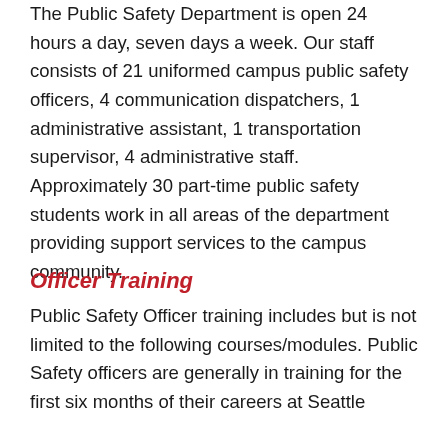The Public Safety Department is open 24 hours a day, seven days a week. Our staff consists of 21 uniformed campus public safety officers, 4 communication dispatchers, 1 administrative assistant, 1 transportation supervisor, 4 administrative staff. Approximately 30 part-time public safety students work in all areas of the department providing support services to the campus community.
Officer Training
Public Safety Officer training includes but is not limited to the following courses/modules. Public Safety officers are generally in training for the first six months of their careers at Seattle